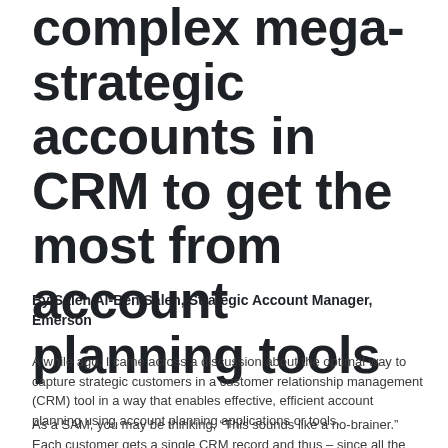complex mega-strategic accounts in CRM to get the most from account planning tools
By Saleh Al-Ben Saleh, Strategic Account Manager, Emerson
A while ago, I came across a discussion about the optimal way to capture strategic customers in a customer relationship management (CRM) tool in a way that enables effective, efficient account planning using account planning applications or tools.
As a SAM, you may be thinking, “This sounds like a no-brainer.” Each customer gets a single CRM record and thus – since all the major account-planning tools link to and mirror the company’s CRM on a one-